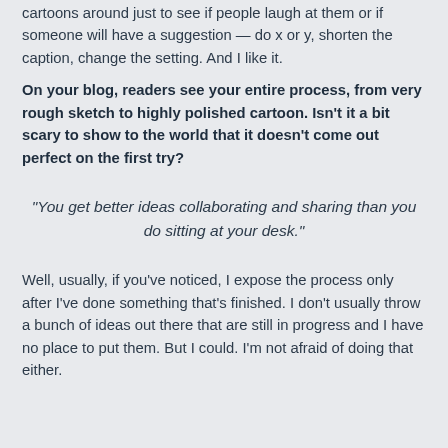cartoons around just to see if people laugh at them or if someone will have a suggestion — do x or y, shorten the caption, change the setting. And I like it.
On your blog, readers see your entire process, from very rough sketch to highly polished cartoon. Isn't it a bit scary to show to the world that it doesn't come out perfect on the first try?
“You get better ideas collaborating and sharing than you do sitting at your desk.”
Well, usually, if you've noticed, I expose the process only after I've done something that's finished. I don't usually throw a bunch of ideas out there that are still in progress and I have no place to put them. But I could. I'm not afraid of doing that either.